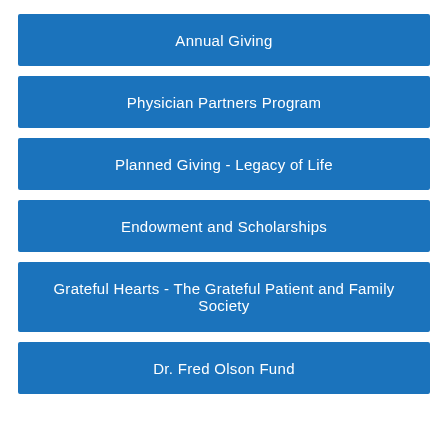Annual Giving
Physician Partners Program
Planned Giving - Legacy of Life
Endowment and Scholarships
Grateful Hearts - The Grateful Patient and Family Society
Dr. Fred Olson Fund